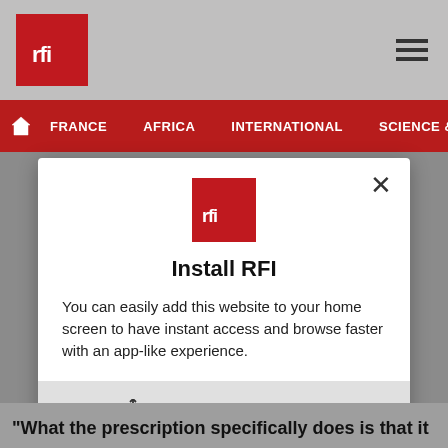[Figure (screenshot): RFI website screenshot showing top navigation bar with RFI logo and hamburger menu, red navigation bar with FRANCE, AFRICA, INTERNATIONAL, SCIENCE & TECHNO links, and a modal dialog prompting to Install RFI as a home screen app]
Install RFI
You can easily add this website to your home screen to have instant access and browse faster with an app-like experience.
Just tap then "Add to home screen"
"What the prescription specifically does is that it